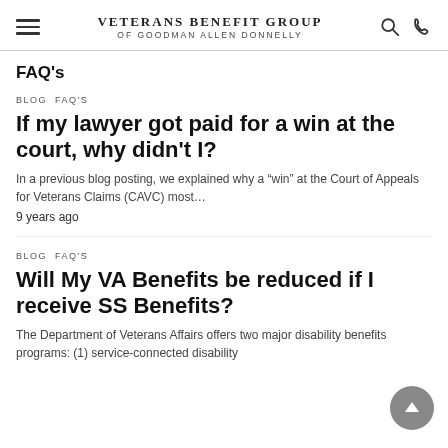VETERANS BENEFIT GROUP OF GOODMAN ALLEN DONNELLY
FAQ's
BLOG  FAQ'S
If my lawyer got paid for a win at the court, why didn't I?
In a previous blog posting, we explained why a “win” at the Court of Appeals for Veterans Claims (CAVC) most…
9 years ago
BLOG  FAQ'S
Will My VA Benefits be reduced if I receive SS Benefits?
The Department of Veterans Affairs offers two major disability benefits programs: (1) service-connected disability